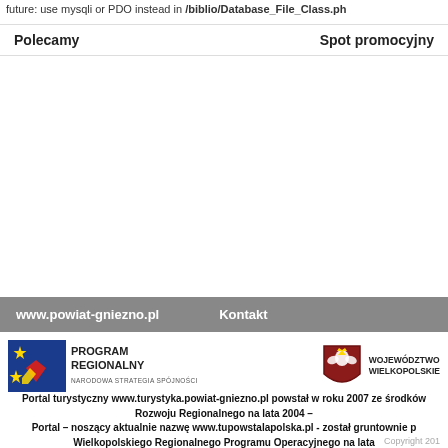future: use mysqli or PDO instead in /biblio/Database_File_Class.ph
Polecamy	Spot promocyjny
www.powiat-gniezno.pl	Kontakt
[Figure (logo): Program Regionalny Narodowa Strategia Spojnosci logo with blue square and stars/flag]
[Figure (logo): Wojewodztwo Wielkopolskie coat of arms logo with eagle]
Portal turystyczny www.turystyka.powiat-gniezno.pl powstal w roku 2007 ze srodkow Rozwoju Regionalnego na lata 2004 –
Portal – noszacy aktualnie nazwe www.tupowstalapolska.pl - zostal gruntownie p Wielkopolskiego Regionalnego Programu Operacyjnego na lata
Copyright 201